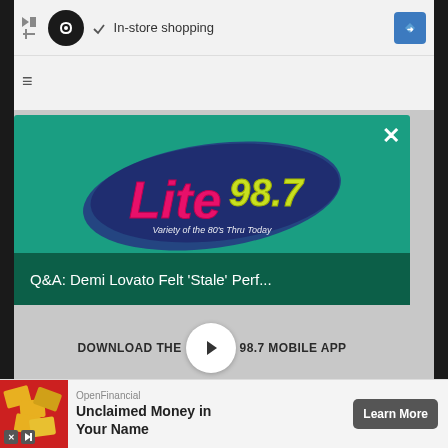[Figure (screenshot): Mobile browser screenshot showing a Lite 98.7 radio station popup modal with logo, Q&A article title, download app prompt, play button, GET OUR FREE MOBILE APP purple button, Also listen on Amazon Alexa section, and an OpenFinancial ad banner at the bottom.]
✓ In-store shopping
Q&A: Demi Lovato Felt 'Stale' Perf...
DOWNLOAD THE LITE 98.7 MOBILE APP
GET OUR FREE MOBILE APP
Also listen on:  amazon alexa
OpenFinancial
Unclaimed Money in Your Name
Learn More